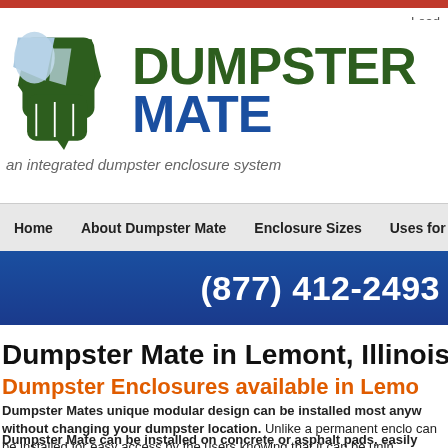[Figure (logo): Dumpster Mate logo with geometric icon showing a dumpster shape in dark green with light blue highlights, and the text DUMPSTER MATE in dark green and blue, with tagline 'an integrated dumpster enclosure system']
Load
Home   About Dumpster Mate   Enclosure Sizes   Uses for
(877) 412-2493
Dumpster Mate in Lemont, Illinois
Dumpster Enclosures available in Lemo
Dumpster Mates unique modular design can be installed most anyw without changing your dumpster location. Unlike a permanent enclo can be installed for easy access by the users knowing that it can be unin
Dumpster Mate can be installed on concrete or asphalt pads, easily